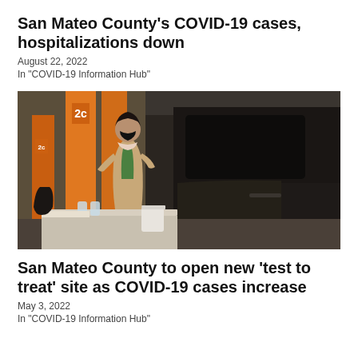San Mateo County's COVID-19 cases, hospitalizations down
August 22, 2022
In "COVID-19 Information Hub"
[Figure (photo): A masked healthcare worker in a tan coat and green vest stands at a table in a parking garage, processing COVID-19 tests next to a dark SUV. Orange structural columns with '2c' signage are visible in the background.]
San Mateo County to open new ‘test to treat’ site as COVID-19 cases increase
May 3, 2022
In "COVID-19 Information Hub"